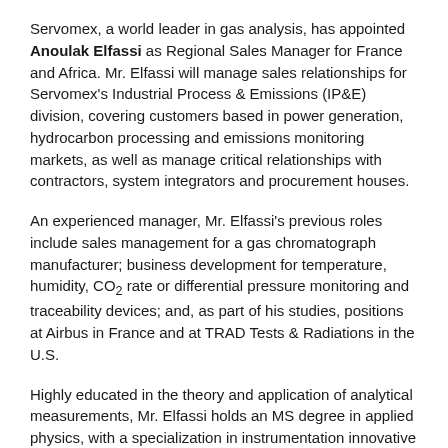Servomex, a world leader in gas analysis, has appointed Anoulak Elfassi as Regional Sales Manager for France and Africa. Mr. Elfassi will manage sales relationships for Servomex's Industrial Process & Emissions (IP&E) division, covering customers based in power generation, hydrocarbon processing and emissions monitoring markets, as well as manage critical relationships with contractors, system integrators and procurement houses.
An experienced manager, Mr. Elfassi's previous roles include sales management for a gas chromatograph manufacturer; business development for temperature, humidity, CO2 rate or differential pressure monitoring and traceability devices; and, as part of his studies, positions at Airbus in France and at TRAD Tests & Radiations in the U.S.
Highly educated in the theory and application of analytical measurements, Mr. Elfassi holds an MS degree in applied physics, with a specialization in instrumentation innovative smart systems, and a specialized Masters degree in industrial businesses (MSIAI).